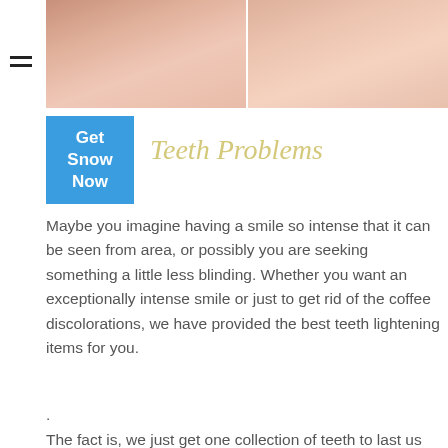[Figure (photo): Before/after split photo showing close-up of a person's smile area, divided by a white vertical line]
Get Snow Now
Teeth Problems
Maybe you imagine having a smile so intense that it can be seen from area, or possibly you are seeking something a little less blinding. Whether you want an exceptionally intense smile or just to get rid of the coffee discolorations, we have provided the best teeth lightening items for you.
.
The fact is, we just get one collection of teeth to last us throughout our lives. Dealing with them